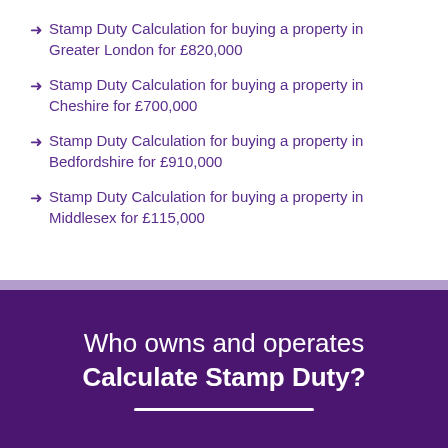Stamp Duty Calculation for buying a property in Greater London for £820,000
Stamp Duty Calculation for buying a property in Cheshire for £700,000
Stamp Duty Calculation for buying a property in Bedfordshire for £910,000
Stamp Duty Calculation for buying a property in Middlesex for £115,000
Who owns and operates Calculate Stamp Duty?